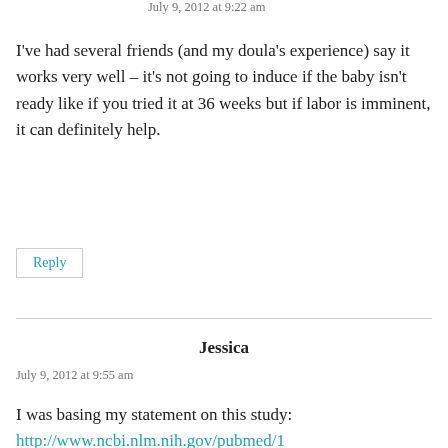July 9, 2012 at 9:22 am
I've had several friends (and my doula's experience) say it works very well – it's not going to induce if the baby isn't ready like if you tried it at 36 weeks but if labor is imminent, it can definitely help.
Reply
Jessica
July 9, 2012 at 9:55 am
I was basing my statement on this study:
http://www.ncbi.nlm.nih.gov/pubmed/1